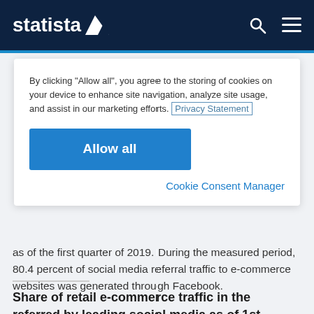statista
By clicking "Allow all", you agree to the storing of cookies on your device to enhance site navigation, analyze site usage, and assist in our marketing efforts. Privacy Statement
Allow all
Cookie Consent Manager
as of the first quarter of 2019. During the measured period, 80.4 percent of social media referral traffic to e-commerce websites was generated through Facebook.
Share of retail e-commerce traffic in the referred by leading social media as of 1st